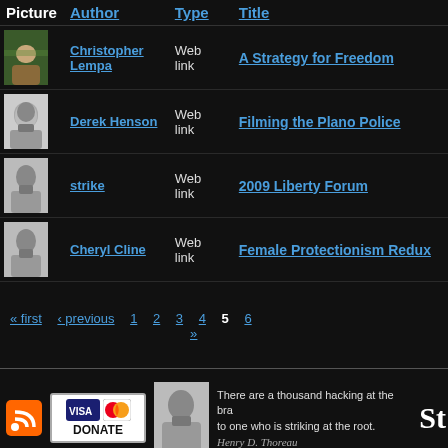| Picture | Author | Type | Title |
| --- | --- | --- | --- |
| [photo] | Christopher Lempa | Web link | A Strategy for Freedom |
| [portrait] | Derek Henson | Web link | Filming the Plano Police |
| [portrait] | strike | Web link | 2009 Liberty Forum |
| [portrait] | Cheryl Cline | Web link | Female Protectionism Redux |
« first  ‹ previous  1  2  3  4  5  6  »
[Figure (infographic): Website footer with RSS icon, donate button with Visa/Mastercard logos, portrait of Henry David Thoreau, and quote: 'There are a thousand hacking at the branches to one who is striking at the root.' with Thoreau signature and 'St' large text]